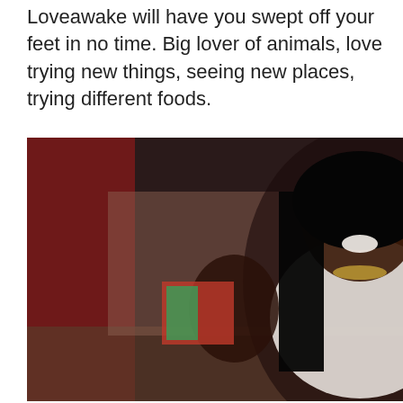Loveawake will have you swept off your feet in no time. Big lover of animals, love trying new things, seeing new places, trying different foods.
[Figure (photo): A young woman with long black hair, wearing a white top and jewelry, smiling at the camera in what appears to be an indoor/outdoor setting with red brick walls and dark background.]